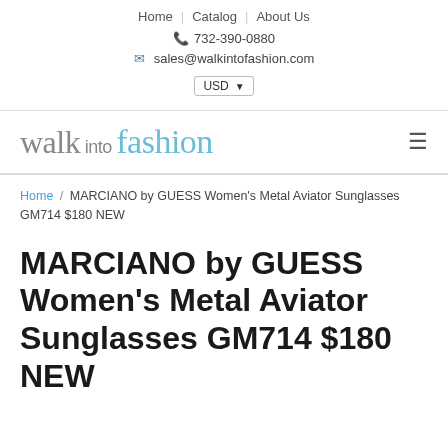Home | Catalog | About Us
732-390-0880
sales@walkintofashion.com
USD
[Figure (logo): Walk into Fashion logo with 'walk' in grey serif, 'into' in small grey sans-serif, 'fashion' in light blue serif]
breadcrumb: Home / MARCIANO by GUESS Women's Metal Aviator Sunglasses GM714 $180 NEW
MARCIANO by GUESS Women's Metal Aviator Sunglasses GM714 $180 NEW